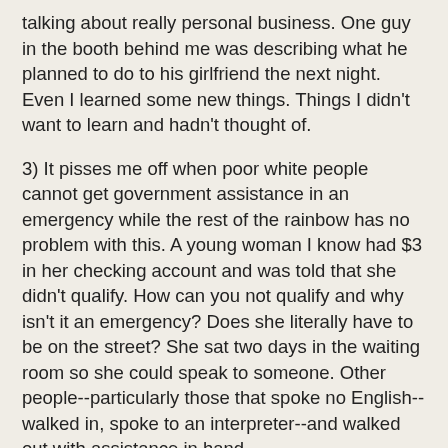talking about really personal business. One guy in the booth behind me was describing what he planned to do to his girlfriend the next night. Even I learned some new things. Things I didn't want to learn and hadn't thought of.
3) It pisses me off when poor white people cannot get government assistance in an emergency while the rest of the rainbow has no problem with this. A young woman I know had $3 in her checking account and was told that she didn't qualify. How can you not qualify and why isn't it an emergency? Does she literally have to be on the street? She sat two days in the waiting room so she could speak to someone. Other people--particularly those that spoke no English--walked in, spoke to an interpreter--and walked out with assistance in hand.
4) It pisses me off when children talk back, whine, throw fits, etc. in stores, restaurants and other places and parents do nothing. When my kids were little we had an iron clad rule. You talk back, etc., we leave right then. If two parents were present, one took the child out to the car. If you were alone with the kids, you all left. Our kids knew that misbehaving in